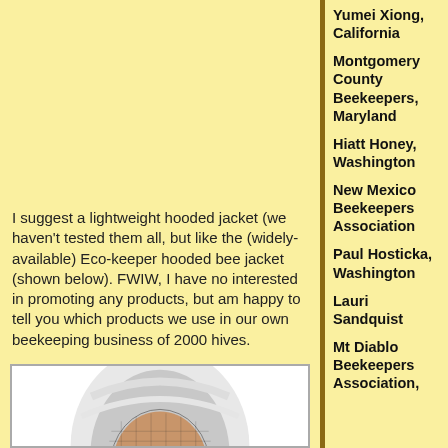Yumei Xiong, California
Montgomery County Beekeepers, Maryland
Hiatt Honey, Washington
New Mexico Beekeepers Association
Paul Hosticka, Washington
Lauri Sandquist
Mt Diablo Beekeepers Association,
I suggest a lightweight hooded jacket (we haven't tested them all, but like the (widely-available) Eco-keeper hooded bee jacket (shown below).  FWIW, I have no interested in promoting any products, but am happy to tell you which products we use in our own beekeeping business of 2000 hives.
[Figure (photo): A person wearing a white beekeeping hooded jacket/veil, facing the camera. The hood has a mesh veil over the face with black mesh netting. The background is white.]